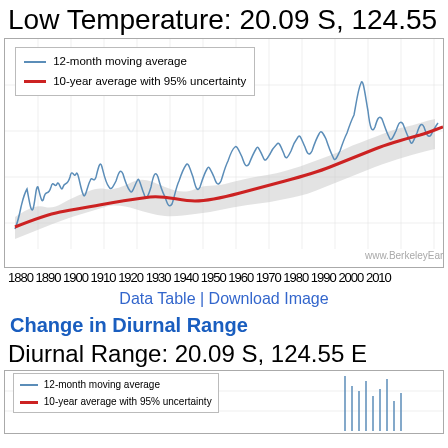Low Temperature: 20.09 S, 124.55
[Figure (continuous-plot): Time series chart showing Low Temperature data from 1880 to 2010 at location 20.09 S, 124.55 E. Blue line: 12-month moving average. Red line: 10-year average with 95% uncertainty (shown as gray shaded band). Values show an increasing trend over time with high variability. Watermark: www.BerkeleyEarth.org]
1880 1890 1900 1910 1920 1930 1940 1950 1960 1970 1980 1990 2000 2010
Data Table | Download Image
Change in Diurnal Range
Diurnal Range: 20.09 S, 124.55 E
[Figure (continuous-plot): Partial time series chart showing Diurnal Range data at location 20.09 S, 124.55 E. Blue line: 12-month moving average. Red line: 10-year average with 95% uncertainty. Chart is cropped at bottom of page.]